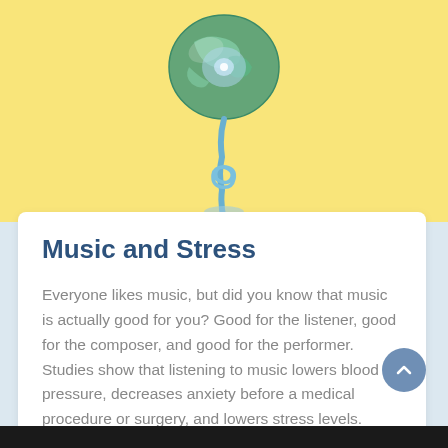[Figure (illustration): Cartoon illustration of a music CD or globe with a snake/cord on a yellow background]
Music and Stress
Everyone likes music, but did you know that music is actually good for you? Good for the listener, good for the composer, and good for the performer. Studies show that listening to music lowers blood pressure, decreases anxiety before a medical procedure or surgery, and lowers stress levels. Mozart, in particular was found to work…